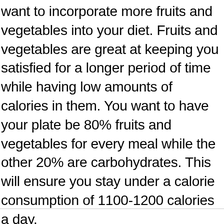want to incorporate more fruits and vegetables into your diet. Fruits and vegetables are great at keeping you satisfied for a longer period of time while having low amounts of calories in them. You want to have your plate be 80% fruits and vegetables for every meal while the other 20% are carbohydrates. This will ensure you stay under a calorie consumption of 1100-1200 calories a day.